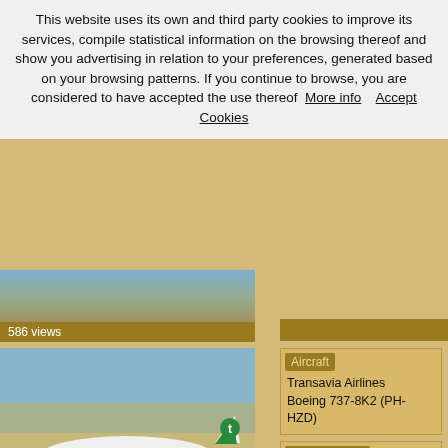This website uses its own and third party cookies to improve its services, compile statistical information on the browsing thereof and show you advertising in relation to your preferences, generated based on your browsing patterns. If you continue to browse, you are considered to have accepted the use thereof  More info   Accept Cookies
586 views
[Figure (photo): Transavia Airlines Boeing 737-8K2 (PH-HZD) on runway, aerial/ground view]
Aircraft
Transavia Airlines
Boeing 737-8K2 (PH-HZD)
Photographer
Alfonso Solis - Asociación Cana Spotting
896 views
[Figure (photo): Transavia Airlines Boeing 737-8K2 (PH-HZD) on tarmac near water]
Aircraft
Transavia Airlines
Boeing 737-8K2 (PH-HZD)
Photographer
EC-ISM